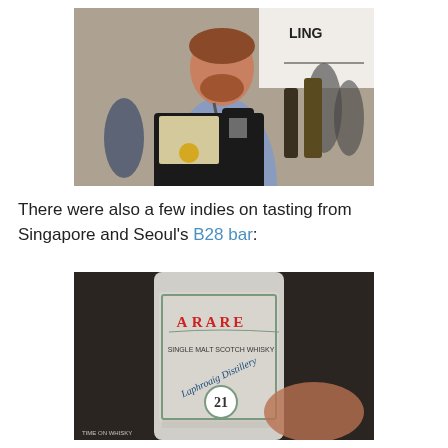[Figure (photo): A man with a beard holding a whisky bottle in a black presentation box at an event or expo, with other attendees and booths visible in the background.]
There were also a few indies on tasting from Singapore and Seoul's B28 bar:
[Figure (photo): Close-up of a whisky bottle label reading 'RARE', 'Single Malt Scotch Whisky', 'Laphroaig Distillery', '21', with ornate label design. A watermark reads 'TIME ON WHISKY' at the bottom left.]